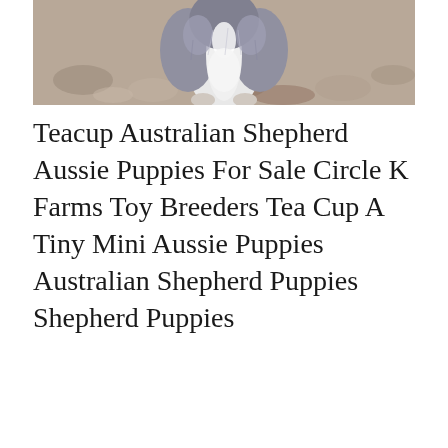[Figure (photo): Close-up photograph of a fluffy gray and white puppy (Australian Shepherd), viewed from above, standing on a rocky/gravel surface.]
Teacup Australian Shepherd Aussie Puppies For Sale Circle K Farms Toy Breeders Tea Cup A Tiny Mini Aussie Puppies Australian Shepherd Puppies Shepherd Puppies